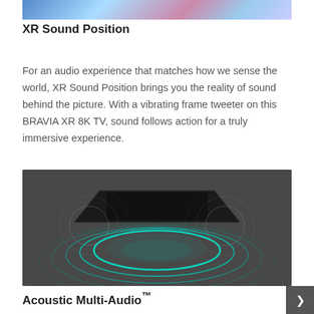[Figure (photo): Partial view of a colorful image at the top of the page, showing vibrant colors including blue, pink, and teal.]
XR Sound Position
For an audio experience that matches how we sense the world, XR Sound Position brings you the reality of sound behind the picture. With a vibrating frame tweeter on this BRAVIA XR 8K TV, sound follows action for a truly immersive experience.
[Figure (illustration): Illustration of a TV viewed from below/behind showing acoustic sound waves radiating outward in concentric elliptical rings from the frame, depicted in teal/cyan on a dark grey background.]
Acoustic Multi-Audio™